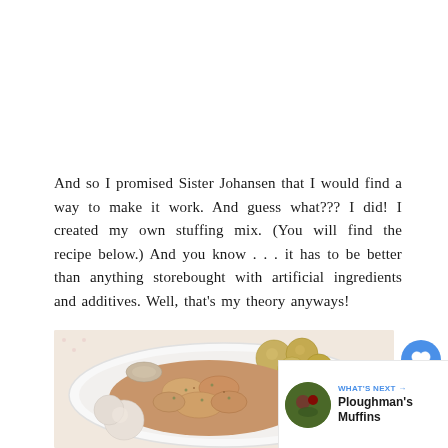And so I promised Sister Johansen that I would find a way to make it work.  And guess what???  I did!  I created my own stuffing mix.  (You will find the recipe below.)  And you know . . .  it has to be better than anything storebought with artificial ingredients and additives.  Well, that's my theory anyways!
[Figure (photo): A bowl of food containing what appears to be chicken with stuffing, small potatoes, and sliced carrots arranged around the edge.]